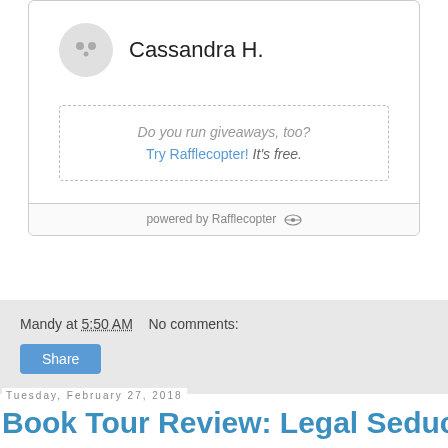[Figure (screenshot): Rafflecopter giveaway widget showing user Cassandra H. with avatar, a dashed box asking 'Do you run giveaways, too? Try Rafflecopter! It's free.' and a footer 'powered by Rafflecopter']
Mandy at 5:50 AM   No comments:
Share
Tuesday, February 27, 2018
Book Tour Review: Legal Seduction